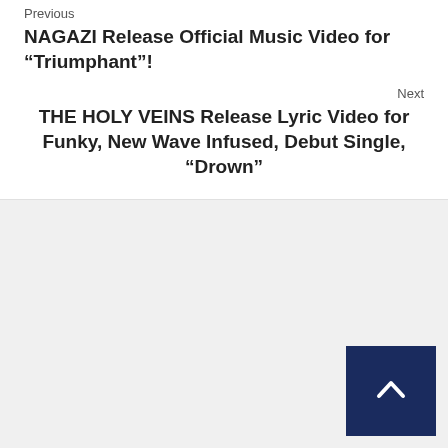Previous
NAGAZI Release Official Music Video for “Triumphant”!
Next
THE HOLY VEINS Release Lyric Video for Funky, New Wave Infused, Debut Single, “Drown”